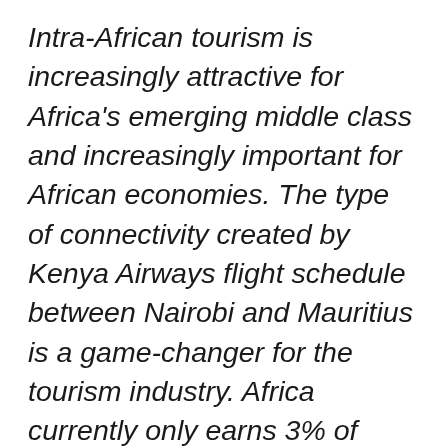Intra-African tourism is increasingly attractive for Africa's emerging middle class and increasingly important for African economies. The type of connectivity created by Kenya Airways flight schedule between Nairobi and Mauritius is a game-changer for the tourism industry. Africa currently only earns 3% of global tourism revenues. Improved connectivity between premium African tourism destinations is a significant step towards growing that figure.